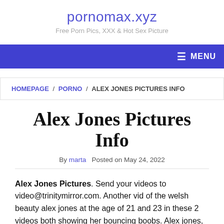pornomax.xyz
Free Porn Pics, XXX & Hot Sex Picture
☰ MENU
HOMEPAGE / PORNO / ALEX JONES PICTURES INFO
Alex Jones Pictures Info
By marta  Posted on May 24, 2022
Alex Jones Pictures. Send your videos to video@trinitymirror.com. Another vid of the welsh beauty alex jones at the age of 21 and 23 in these 2 videos both showing her bouncing boobs. Alex jones, presenter of 'the one show', at Chair